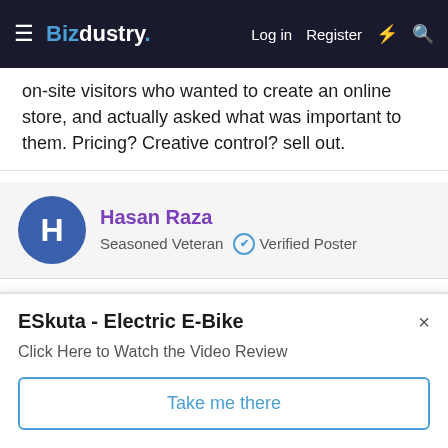Bizdustry. Log in Register
on-site visitors who wanted to create an online store, and actually asked what was important to them. Pricing? Creative control? sell out.
Hasan Raza
Seasoned Veteran   ✔ Verified Poster
Jan 27, 2021   #18
It depends on the nature of your business and your community where you are going to start it. To start e-commerce you must
ESkuta - Electric E-Bike
Click Here to Watch the Video Review
Take me there